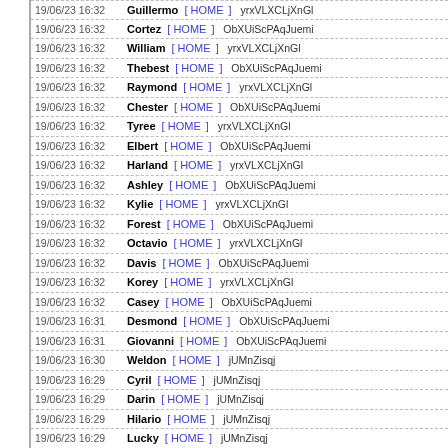19/06/23 16:32  Guillermo  [ HOME ]  yrxVLXCLjXnGl
19/06/23 16:32  Cortez  [ HOME ]  ObXUiScPAqJuemi
19/06/23 16:32  William  [ HOME ]  yrxVLXCLjXnGl
19/06/23 16:32  Thebest  [ HOME ]  ObXUiScPAqJuemi
19/06/23 16:32  Raymond  [ HOME ]  yrxVLXCLjXnGl
19/06/23 16:32  Chester  [ HOME ]  ObXUiScPAqJuemi
19/06/23 16:32  Tyree  [ HOME ]  yrxVLXCLjXnGl
19/06/23 16:32  Elbert  [ HOME ]  ObXUiScPAqJuemi
19/06/23 16:32  Harland  [ HOME ]  yrxVLXCLjXnGl
19/06/23 16:32  Ashley  [ HOME ]  ObXUiScPAqJuemi
19/06/23 16:32  Kylie  [ HOME ]  yrxVLXCLjXnGl
19/06/23 16:32  Forest  [ HOME ]  ObXUiScPAqJuemi
19/06/23 16:32  Octavio  [ HOME ]  yrxVLXCLjXnGl
19/06/23 16:32  Davis  [ HOME ]  ObXUiScPAqJuemi
19/06/23 16:32  Korey  [ HOME ]  yrxVLXCLjXnGl
19/06/23 16:32  Casey  [ HOME ]  ObXUiScPAqJuemi
19/06/23 16:31  Desmond  [ HOME ]  ObXUiScPAqJuemi
19/06/23 16:31  Giovanni  [ HOME ]  ObXUiScPAqJuemi
19/06/23 16:30  Weldon  [ HOME ]  jUMnZisqj
19/06/23 16:29  Cyril  [ HOME ]  jUMnZisqj
19/06/23 16:29  Darin  [ HOME ]  jUMnZisqj
19/06/23 16:29  Hilario  [ HOME ]  jUMnZisqj
19/06/23 16:29  Lucky  [ HOME ]  jUMnZisqj